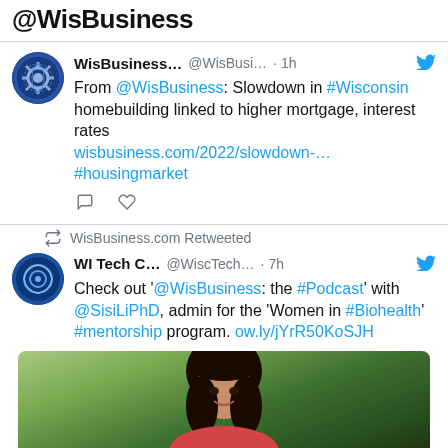@WisBusiness
WisBusiness... @WisBusi... · 1h
From @WisBusiness: Slowdown in #Wisconsin homebuilding linked to higher mortgage, interest rates wisbusiness.com/2022/slowdown-… #housingmarket
WisBusiness.com Retweeted
WI Tech C... @WiscTech... · 7h
Check out '@WisBusiness: the #Podcast' with @SisiLiPhD, admin for the 'Women in #Biohealth' #mentorship program. ow.ly/jYrR50KoSJH
[Figure (photo): Portrait photo of a smiling Asian woman with dark hair against a green outdoor background]